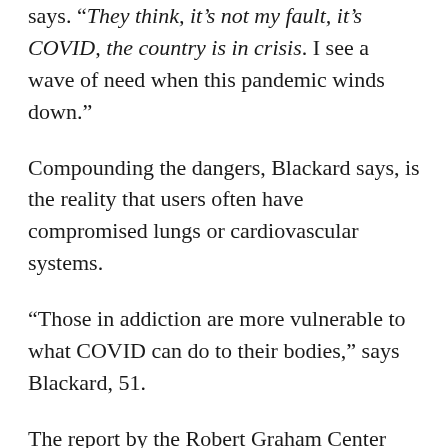says. “They think, it’s not my fault, it’s COVID, the country is in crisis. I see a wave of need when this pandemic winds down.”
Compounding the dangers, Blackard says, is the reality that users often have compromised lungs or cardiovascular systems.
“Those in addiction are more vulnerable to what COVID can do to their bodies,” says Blackard, 51.
The report by the Robert Graham Center states that the highest rate of deaths of despair in 2018 occurred among those aged 55 to 64, followed by those ages 45 to 54.
Blackard says the pandemic has done nothing to diminish the availability of alcohol or illicit drugs, but recovery meetings have been hard to